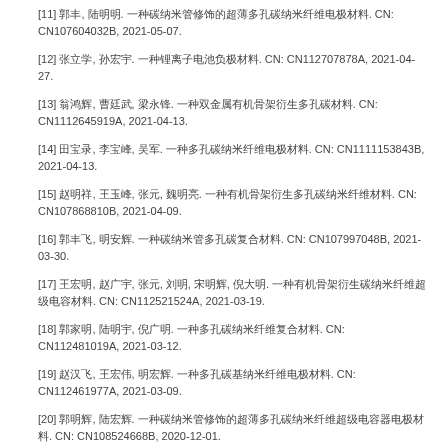[11] 郭丰, 陆明明. 一种碳纳米管修饰的超薄多孔碳纳米纤维电极材料. CN: CN107604032B, 2021-05-07.
[12] 张立学, 孙宏宇. 一种锂离子电池负极材料. CN: CN112707878A, 2021-04-27.
[13] 翁鸿辉, 曹廷武, 梁永锋. 一种双金属有机骨架衍生多孔碳材料. CN: CN1112645919A, 2021-04-13.
[14] 田宝录, 李宝峰, 吴军. 一种多孔碳纳米纤维电极材料. CN: CN1111153843B, 2021-04-13.
[15] 赵明祥, 王玉峰, 张元, 魏明亮. 一种有机骨架衍生多孔碳纳米纤维材料. CN: CN107868810B, 2021-04-09.
[16] 郭丰飞, 明安辉. 一种碳纳米管多孔碳复合材料. CN: CN107997048B, 2021-03-30.
[17] 王宏明, 赵广宇, 张元, 刘明, 宋明辉, 倪大明. 一种有机骨架衍生碳纳米纤维超级电容材料. CN: CN112521524A, 2021-03-19.
[18] 郭家明, 陆明宇, 倪广明. 一种多孔碳纳米纤维复合材料. CN: CN112481019A, 2021-03-12.
[19] 赵汉飞, 王宏伟, 明宏辉. 一种多孔碳基纳米纤维电极材料. CN: CN112461977A, 2021-03-09.
[20] 郭明辉, 陆宏辉. 一种碳纳米管修饰的超薄多孔碳纳米纤维超级电容器电极材料. CN: CN108524668B, 2020-12-01.
[21] 郭宏明, 陆光辉, 张元, 王明辉. 一种多孔碳纳米复合材料. CN: CN107836615B, 2020-11-27.